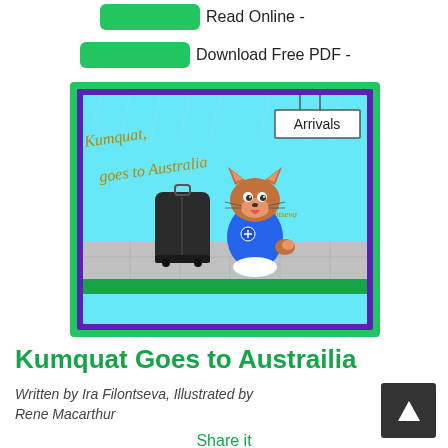Read Online -
Download Free PDF -
[Figure (illustration): Book cover for 'Kumquat Goes to Austrailia' showing a cartoon fox character wearing a blue Australian-flag shirt standing next to a large black suitcase in an airport arrivals area. The cover has a green outer border and purple inner border. Text on the cover reads 'Kumquat goes to Australia by Ira Filontseva'. An 'Arrivals' sign hangs in the upper right.]
Kumquat Goes to Austrailia
Written by Ira Filontseva, Illustrated by Rene Macarthur
Share it